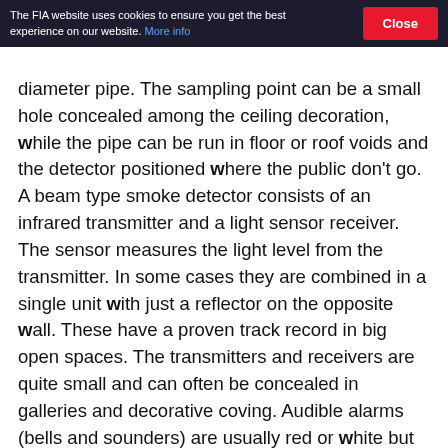The FIA website uses cookies to ensure you get the best experience on our website. More info | Close
diameter pipe. The sampling point can be a small hole concealed among the ceiling decoration, while the pipe can be run in floor or roof voids and the detector positioned where the public don't go. A beam type smoke detector consists of an infrared transmitter and a light sensor receiver. The sensor measures the light level from the transmitter. In some cases they are combined in a single unit with just a reflector on the opposite wall. These have a proven track record in big open spaces. The transmitters and receivers are quite small and can often be concealed in galleries and decorative coving. Audible alarms (bells and sounders) are usually red or white but there are no rules which say they must be. Audible alarms can be provided in a